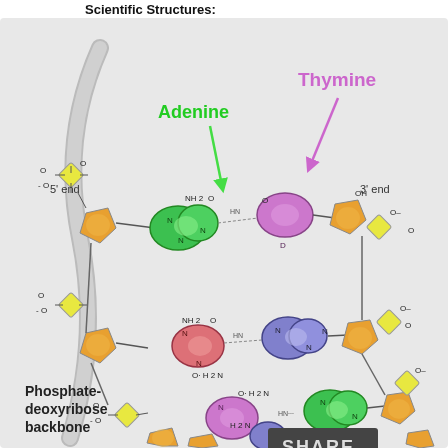Scientific Structures:
[Figure (illustration): Diagram of DNA double helix base pairs showing Adenine (green) paired with Thymine (purple/pink), and Cytosine (pink/red) paired with Guanine (blue/purple). Labels indicate 5' end, 3' end, Adenine, Thymine, and Phosphate-deoxyribose backbone. Sugar groups shown as orange pentagons, phosphate groups as yellow diamonds. A SHARE button overlay appears at the bottom.]